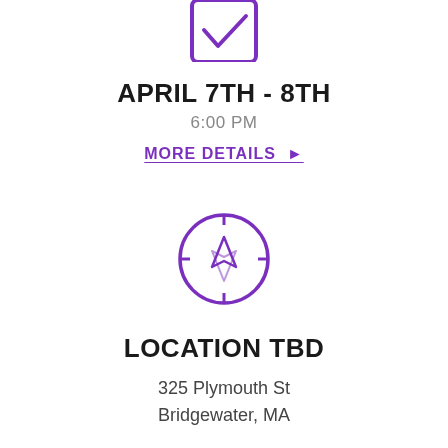[Figure (illustration): Purple checkbox icon with a checkmark, partially visible at top of page]
APRIL 7TH - 8TH
6:00 PM
MORE DETAILS ▶
[Figure (illustration): Purple compass icon]
LOCATION TBD
325 Plymouth St
Bridgewater, MA